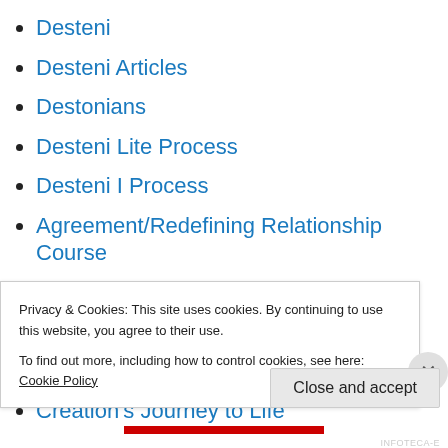Desteni
Desteni Articles
Destonians
Desteni Lite Process
Desteni I Process
Agreement/Redefining Relationship Course
Desteni Forum
Desteni Wiki
Desteni Español
Creation's Journey to Life
Privacy & Cookies: This site uses cookies. By continuing to use this website, you agree to their use.
To find out more, including how to control cookies, see here: Cookie Policy
Close and accept